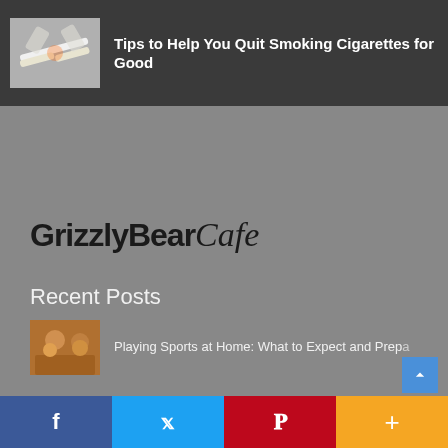[Figure (screenshot): Thumbnail image showing cigarette being broken in half]
Tips to Help You Quit Smoking Cigarettes for Good
[Figure (logo): GrizzlyBearCafe logo in bold sans-serif with italic script cafe]
Recent Posts
[Figure (photo): Thumbnail showing people playing sports at home]
Playing Sports at Home: What to Expect and Prep...